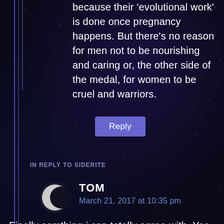because their 'evolutional work' is done once pregnancy happens. But there's no reason for men not to be nourishing and caring or, the other side of the medal, for women to be cruel and warriors.
Reply
IN REPLY TO SIDERITE
TOM
March 21, 2017 at 10:35 pm
Finally somthing i can totally agree with. Yes overstereotyping isnt good. Still it is an utter nonsense to deny that men and women are